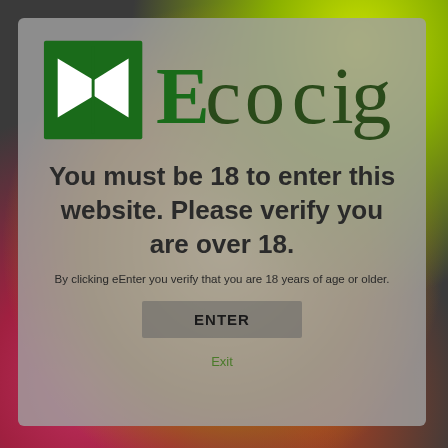[Figure (logo): EcoCig company logo with green square/arrow icon on left and stylized green text 'Ecocig' on right]
You must be 18 to enter this website. Please verify you are over 18.
By clicking eEnter you verify that you are 18 years of age or older.
ENTER
Exit